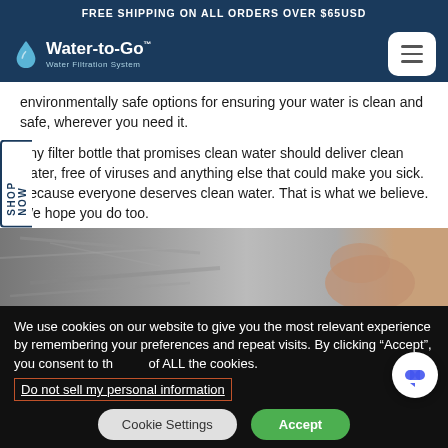FREE SHIPPING ON ALL ORDERS OVER $65USD
[Figure (logo): Water-to-Go Water Filtration System logo with water drop icon on dark blue navigation bar with hamburger menu button]
environmentally safe options for ensuring your water is clean and safe, wherever you need it.
Any filter bottle that promises clean water should deliver clean water, free of viruses and anything else that could make you sick.  Because everyone deserves clean water. That is what we believe. We hope you do too.
[Figure (photo): Black and white partial photo showing water and a hand, cropped image strip]
We use cookies on our website to give you the most relevant experience by remembering your preferences and repeat visits. By clicking “Accept”, you consent to the use of ALL the cookies.
Do not sell my personal information
Cookie Settings
Accept